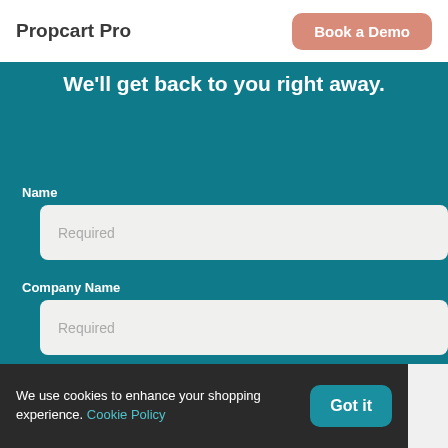Propcart Pro
Book a Demo
We'll get back to you right away.
Name
Required
Company Name
Required
We use cookies to enhance your shopping experience. Cookie Policy